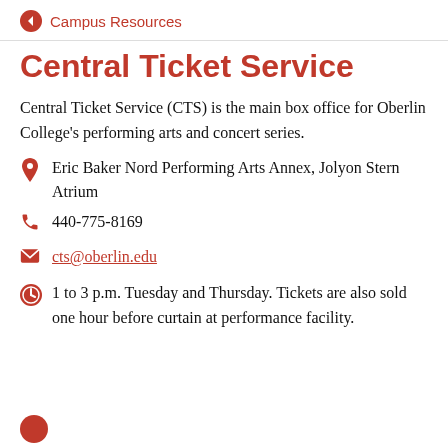Campus Resources
Central Ticket Service
Central Ticket Service (CTS) is the main box office for Oberlin College's performing arts and concert series.
Eric Baker Nord Performing Arts Annex, Jolyon Stern Atrium
440-775-8169
cts@oberlin.edu
1 to 3 p.m. Tuesday and Thursday. Tickets are also sold one hour before curtain at performance facility.